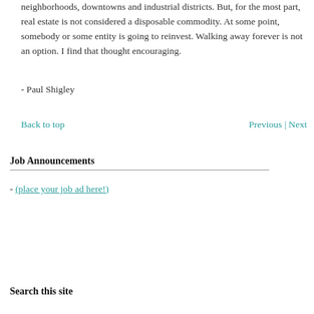neighborhoods, downtowns and industrial districts. But, for the most part, real estate is not considered a disposable commodity. At some point, somebody or some entity is going to reinvest. Walking away forever is not an option. I find that thought encouraging.
- Paul Shigley
Back to top   Previous | Next
Job Announcements
- (place your job ad here!)
Search this site